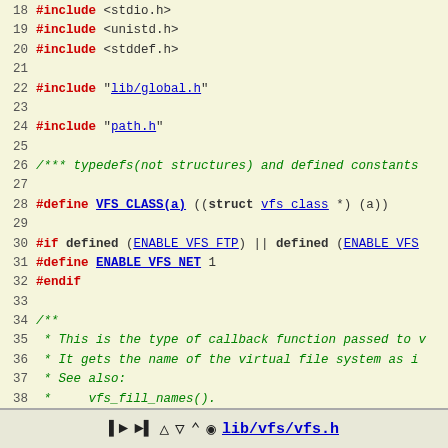Source code listing: lib/vfs/vfs.h lines 18-45
lib/vfs/vfs.h